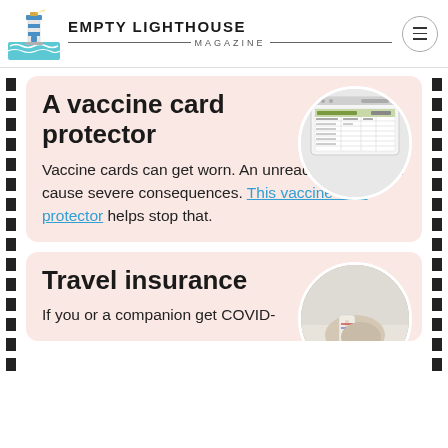EMPTY LIGHTHOUSE MAGAZINE
A vaccine card protector
Vaccine cards can get worn. An unreadable card can cause severe consequences. This vaccine card protector helps stop that.
Travel insurance
If you or a companion get COVID-